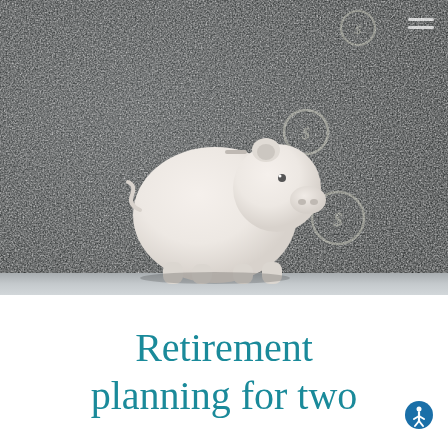[Figure (photo): A white ceramic piggy bank facing a dark chalkboard with chalk-drawn dollar coin circles floating above it, suggesting money savings. A small shelf or ledge at the bottom.]
Retirement planning for two